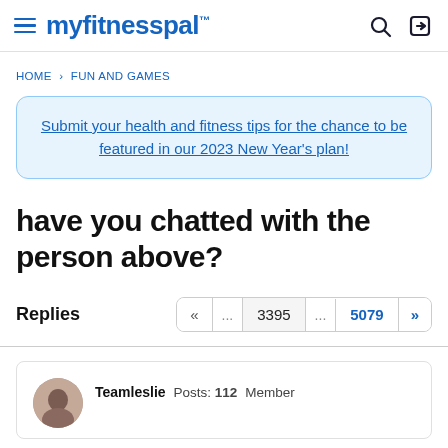myfitnesspal
HOME › FUN AND GAMES
Submit your health and fitness tips for the chance to be featured in our 2023 New Year's plan!
have you chatted with the person above?
Replies  « ... 3395 ... 5079 »
Teamleslie  Posts: 112  Member